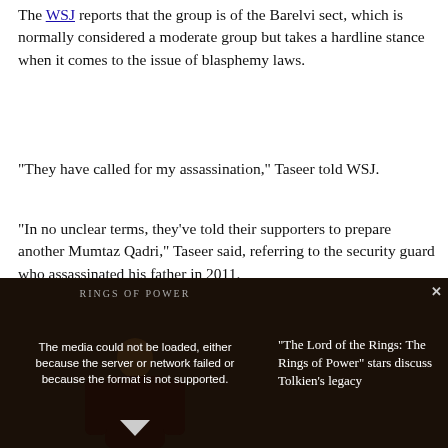The WSJ reports that the group is of the Barelvi sect, which is normally considered a moderate group but takes a hardline stance when it comes to the issue of blasphemy laws.
"They have called for my assassination," Taseer told WSJ.
"In no unclear terms, they've told their supporters to prepare another Mumtaz Qadri," Taseer said, referring to the security guard who assassinated his father in 2011.
Taseer explained that he has received hundreds of hate-filled messages and death threats since posting his Christmas message and is now seeking safety outside of Pakistan.
As the police case registered in Islampura doesn't mention Taseer by name, the Islamic group Sunni Tehreek Lahore has petitioned the Mughalpura police station to register a blasphemy case against Taseer by name.
[Figure (screenshot): Video player showing a dark scene with a person. Text overlay reads: 'The media could not be loaded, either because the server or network failed or because the format is not supported.' Right side shows text: '"The Lord of the Rings: The Rings of Power" stars discuss Tolkien's legacy'. A close button (x) is in the top right corner. A down arrow is at the bottom.]